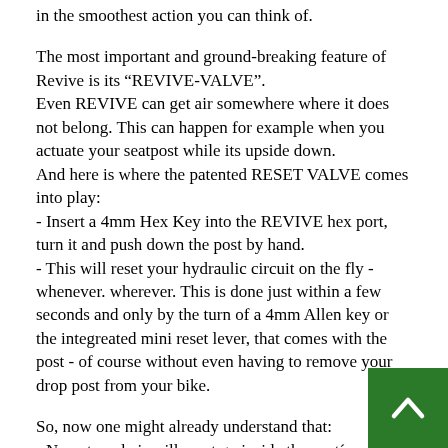in the smoothest action you can think of.
The most important and ground-breaking feature of Revive is its “REVIVE-VALVE”.
Even REVIVE can get air somewhere where it does not belong. This can happen for example when you actuate your seatpost while its upside down.
And here is where the patented RESET VALVE comes into play:
- Insert a 4mm Hex Key into the REVIVE hex port, turn it and push down the post by hand.
- This will reset your hydraulic circuit on the fly - whenever. wherever. This is done just within a few seconds and only by the turn of a 4mm Allen key or the integreated mini reset lever, that comes with the post - of course without even having to remove your drop post from your bike.
So, now one might already understand that:
- No external air will want go inside the post´s hydraulic circuit, since it is charged with higher pressure, than its